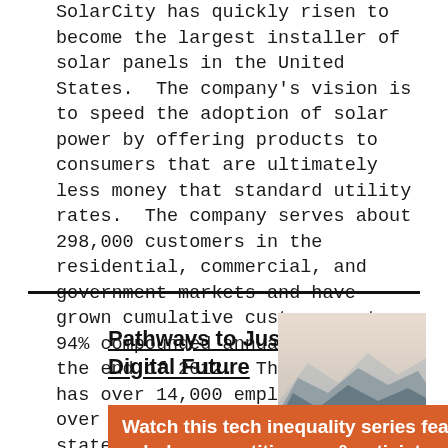SolarCity has quickly risen to become the largest installer of solar panels in the United States. The company's vision is to speed the adoption of solar power by offering products to consumers that are ultimately less money that standard utility rates. The company serves about 298,000 customers in the residential, commercial, and government markets and have grown cumulative customers at a 94% compounded annual rate since the end of 2012. The company has over 14,000 employees with over 80 operations centers in 19 states.
Pathways to Just Digital Future
[Figure (photo): Mountain landscape with layered misty blue-grey mountains fading into the distance, sunset/hazy sky]
Watch this tech inequality series featuring scholars, practitioners, & activists